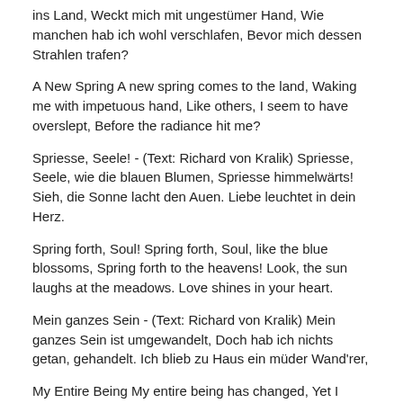ins Land, Weckt mich mit ungestümer Hand, Wie manchen hab ich wohl verschlafen, Bevor mich dessen Strahlen trafen?
A New Spring A new spring comes to the land, Waking me with impetuous hand, Like others, I seem to have overslept, Before the radiance hit me?
Spriesse, Seele! - (Text: Richard von Kralik) Spriesse, Seele, wie die blauen Blumen, Spriesse himmelwärts! Sieh, die Sonne lacht den Auen. Liebe leuchtet in dein Herz.
Spring forth, Soul! Spring forth, Soul, like the blue blossoms, Spring forth to the heavens! Look, the sun laughs at the meadows. Love shines in your heart.
Mein ganzes Sein - (Text: Richard von Kralik) Mein ganzes Sein ist umgewandelt, Doch hab ich nichts getan, gehandelt. Ich blieb zu Haus ein müder Wand'rer,
My Entire Being My entire being has changed, Yet I have done nothing, nor acted. I stayed at home, a tired wanderer,
Und doch ward ich zu Haus ein Andrer. Es wächst und blüht die ganze Welt; Bin ich's allein der inne halt? O süsse Lust! Ich schaue still, Wie meine Seele wachsen will.